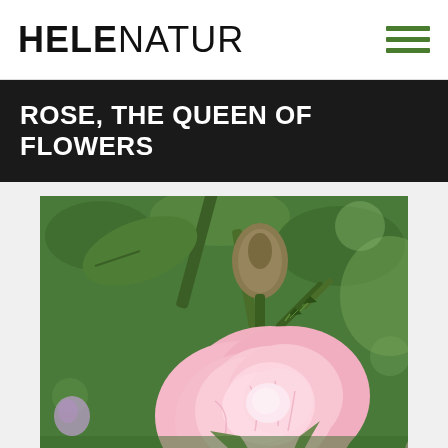HELENATUR
ROSE, THE QUEEN OF FLOWERS
[Figure (photo): Close-up photograph of a pink rose flower in bloom with green leaves and stems in the background. The rose is fully opened showing soft pink petals. Behind it is a bud and stems with thorns.]